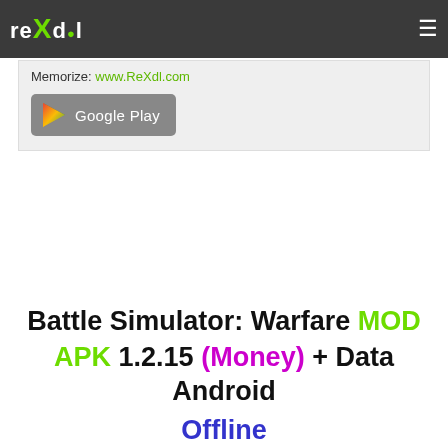ReXdl logo and navigation bar
Memorize: www.ReXdl.com
[Figure (logo): Google Play store badge button]
Battle Simulator: Warfare MOD APK 1.2.15 (Money) + Data Android Offline